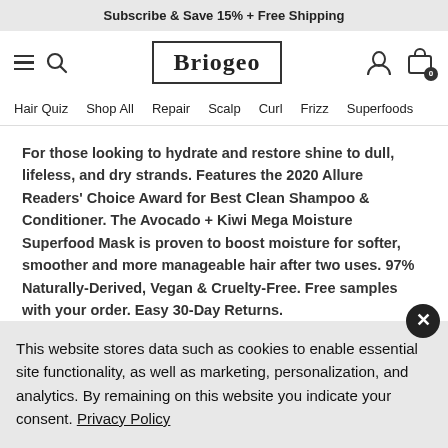Subscribe & Save 15% + Free Shipping
[Figure (logo): Briogeo logo with navigation icons: hamburger menu, search, user account, and shopping bag (badge: 0)]
Hair Quiz  Shop All  Repair  Scalp  Curl  Frizz  Superfoods
For those looking to hydrate and restore shine to dull, lifeless, and dry strands. Features the 2020 Allure Readers' Choice Award for Best Clean Shampoo & Conditioner. The Avocado + Kiwi Mega Moisture Superfood Mask is proven to boost moisture for softer, smoother and more manageable hair after two uses. 97% Naturally-Derived, Vegan & Cruelty-Free. Free samples with your order. Easy 30-Day Returns.
This website stores data such as cookies to enable essential site functionality, as well as marketing, personalization, and analytics. By remaining on this website you indicate your consent. Privacy Policy